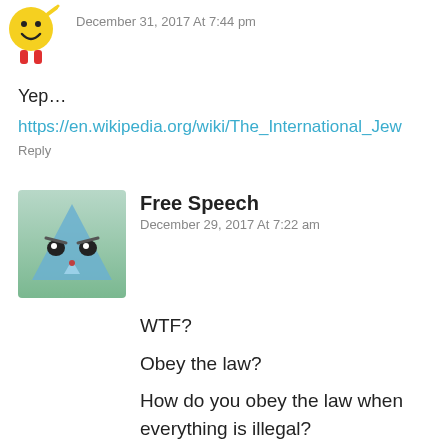[Figure (illustration): Yellow cartoon character avatar, top-left]
December 31, 2017 At 7:44 pm
Yep…
https://en.wikipedia.org/wiki/The_International_Jew
Reply
[Figure (illustration): Blue/green angry face avatar for Free Speech commenter]
Free Speech
December 29, 2017 At 7:22 am
WTF?
Obey the law?
How do you obey the law when everything is illegal?
How do you obey the law when just existing is a crime?